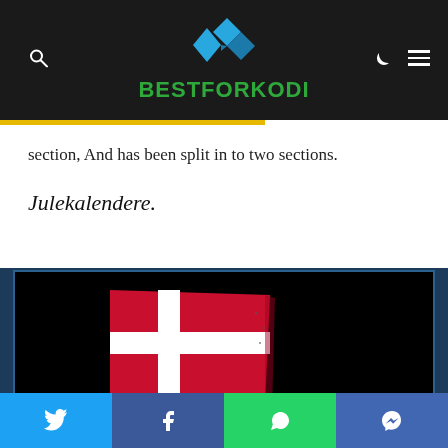BESTFORKODI
section, And has been split in to two sections.
Julekalendere.
[Figure (photo): Dark screenshot showing a Danish flag on a black background, appears to be a Kodi add-on or media player interface thumbnail]
Twitter | Facebook | WhatsApp | Messenger social share buttons